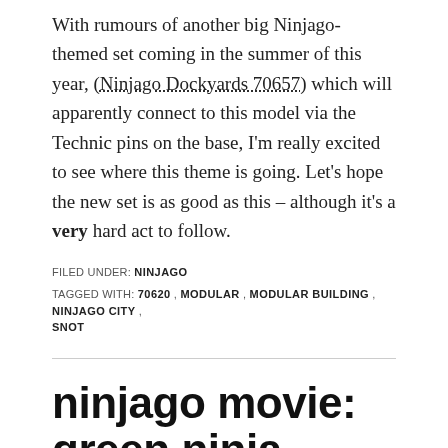With rumours of another big Ninjago-themed set coming in the summer of this year, (Ninjago Dockyards 70657) which will apparently connect to this model via the Technic pins on the base, I'm really excited to see where this theme is going. Let's hope the new set is as good as this – although it's a very hard act to follow.
FILED UNDER: NINJAGO
TAGGED WITH: 70620, MODULAR, MODULAR BUILDING, NINJAGO CITY, SNOT
ninjago movie: green ninja mech dragon